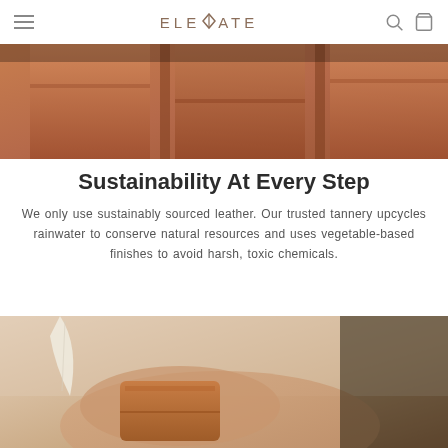ELEMATE
[Figure (photo): Close-up of copper/tan leather bags or containers, warm orange-brown tones]
Sustainability At Every Step
We only use sustainably sourced leather. Our trusted tannery upcycles rainwater to conserve natural resources and uses vegetable-based finishes to avoid harsh, toxic chemicals.
[Figure (photo): Hands holding or examining a leather wallet, warm beige tones]